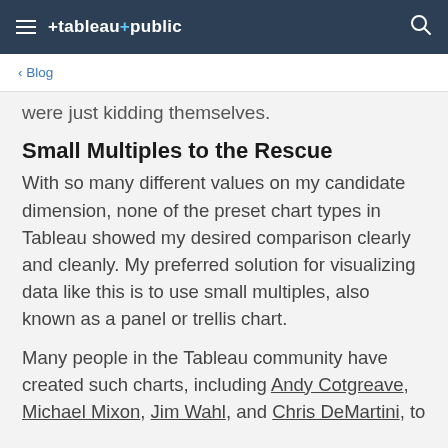tableau public
< Blog
were just kidding themselves.
Small Multiples to the Rescue
With so many different values on my candidate dimension, none of the preset chart types in Tableau showed my desired comparison clearly and cleanly. My preferred solution for visualizing data like this is to use small multiples, also known as a panel or trellis chart.
Many people in the Tableau community have created such charts, including Andy Cotgreave, Michael Mixon, Jim Wahl, and Chris DeMartini, to